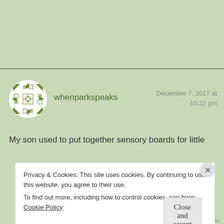[Figure (illustration): Green background top area of a blog page]
[Figure (illustration): Circular avatar with green and white geometric quilt-like pattern on green background]
whenparkspeaks
December 7, 2017 at
10:22 pm
My son used to put together sensory boards for little
Privacy & Cookies: This site uses cookies. By continuing to use this website, you agree to their use.
To find out more, including how to control cookies, see here: Cookie Policy
Close and accept